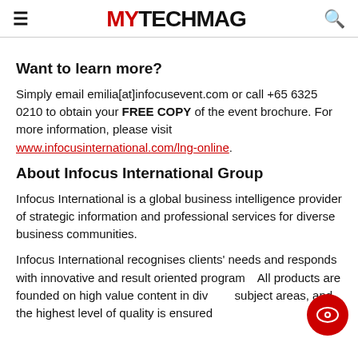MY TECH MAG
Want to learn more?
Simply email emilia[at]infocusevent.com or call +65 6325 0210 to obtain your FREE COPY of the event brochure. For more information, please visit www.infocusinternational.com/lng-online.
About Infocus International Group
Infocus International is a global business intelligence provider of strategic information and professional services for diverse business communities.
Infocus International recognises clients' needs and responds with innovative and result oriented programs. All products are founded on high value content in diverse subject areas, and the highest level of quality is ensured